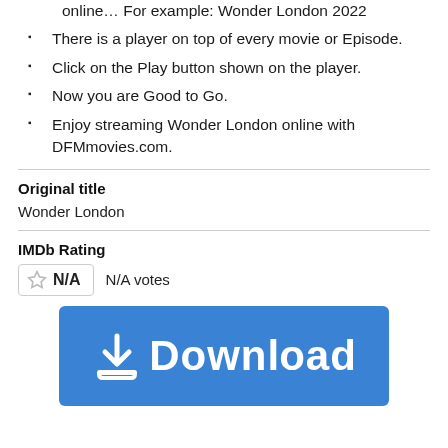online… For example: Wonder London 2022
There is a player on top of every movie or Episode.
Click on the Play button shown on the player.
Now you are Good to Go.
Enjoy streaming Wonder London online with DFMmovies.com.
Original title
Wonder London
IMDb Rating
N/A  N/A votes
[Figure (other): Blue Download button banner with download arrow icon and text 'Download']